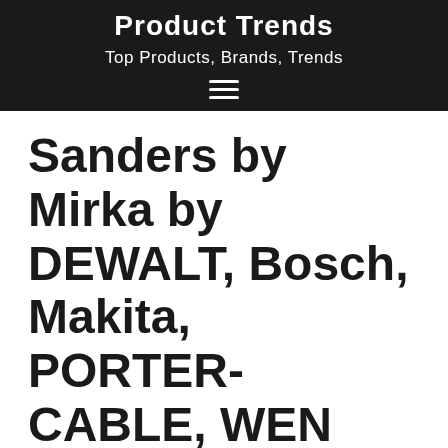Product Trends
Top Products, Brands, Trends
Sanders by Mirka by DEWALT, Bosch, Makita, PORTER-CABLE, WEN
Tools > Sanders > Best Sanders
[Figure (photo): Photo of a black and orange sander tool, partially visible, inside a bordered product grid cell]